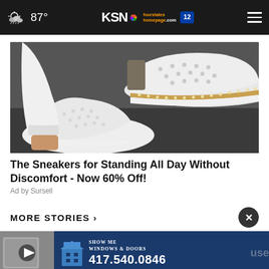87° KSN fourstates homepage .com 12
[Figure (photo): Close-up photo of white sneakers with gold/tan trim and perforated design, worn with white rolled-up pants on a dark surface]
The Sneakers for Standing All Day Without Discomfort - Now 60% Off!
Ad by Sursell
MORE STORIES ›
[Figure (photo): Small thumbnail of a video story (building/house)]
[Figure (infographic): Show Me Windows & Doors advertisement banner with phone number 417.540.0846]